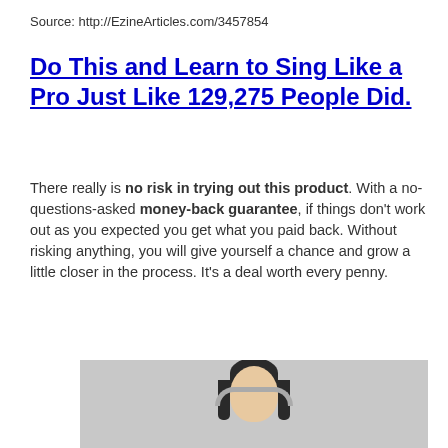Source: http://EzineArticles.com/3457854
Do This and Learn to Sing Like a Pro Just Like 129,275 People Did.
There really is no risk in trying out this product. With a no-questions-asked money-back guarantee, if things don’t work out as you expected you get what you paid back. Without risking anything, you will give yourself a chance and grow a little closer in the process. It’s a deal worth every penny.
[Figure (photo): Woman with dark hair wearing headphones, eyes closed, light gray background]